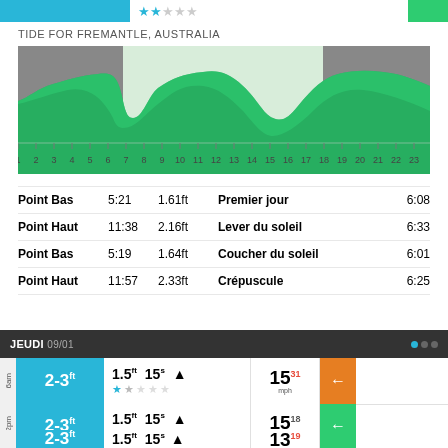TIDE FOR FREMANTLE, AUSTRALIA
[Figure (area-chart): Tide area chart showing high and low tides over 24 hours with gray (night) and green (day) shading]
|  | Time | Height |  | Event | Time |
| --- | --- | --- | --- | --- | --- |
| Point Bas | 5:21 | 1.61ft |  | Premier jour | 6:08 |
| Point Haut | 11:38 | 2.16ft |  | Lever du soleil | 6:33 |
| Point Bas | 5:19 | 1.64ft |  | Coucher du soleil | 6:01 |
| Point Haut | 11:57 | 2.33ft |  | Crépuscule | 6:25 |
JEUDI 09/01
| Time | Wave Height | Height | Period | Direction | Wind | Wind Dir |
| --- | --- | --- | --- | --- | --- | --- |
| 6am | 2-3ft | 1.5ft | 15s | ▲ | 15 31 mph | ← |
| 12pm | 2-3ft | 1.5ft | 15s | ▲ | 15 18 mph | ← |
|  | 2-3ft | 1.5ft | 15s | ▲ | 13 19 |  |